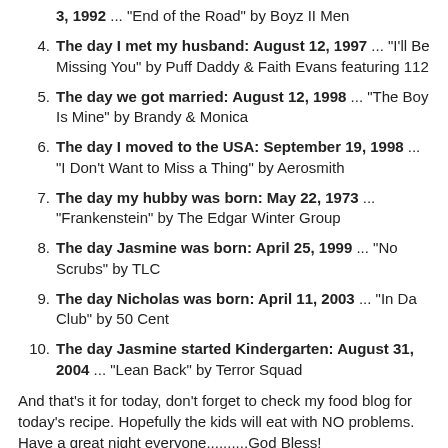3, 1992 ... "End of the Road" by Boyz II Men
The day I met my husband: August 12, 1997 ... "I'll Be Missing You" by Puff Daddy & Faith Evans featuring 112
The day we got married: August 12, 1998 ... "The Boy Is Mine" by Brandy & Monica
The day I moved to the USA: September 19, 1998 ... "I Don't Want to Miss a Thing" by Aerosmith
The day my hubby was born: May 22, 1973 ... "Frankenstein" by The Edgar Winter Group
The day Jasmine was born: April 25, 1999 ... "No Scrubs" by TLC
The day Nicholas was born: April 11, 2003 ... "In Da Club" by 50 Cent
The day Jasmine started Kindergarten: August 31, 2004 ... "Lean Back" by Terror Squad
And that's it for today, don't forget to check my food blog for today's recipe. Hopefully the kids will eat with NO problems. Have a great night everyone..........God Bless!